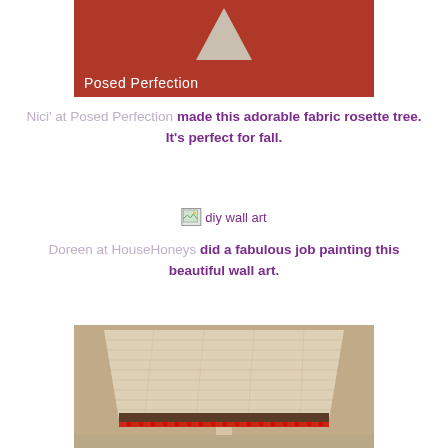[Figure (photo): Photo of orange fabric rosette tree art piece with label 'Posed Perfection' at the bottom]
Nici' at Posed Perfection made this adorable fabric rosette tree. It's perfect for fall.
[Figure (photo): Broken image placeholder labeled 'diy wall art']
Doreen at HouseHoneys did a fabulous job painting this beautiful wall art.
[Figure (photo): Photo of a lamp with textured woven lampshade with brown band and red trim at the bottom]